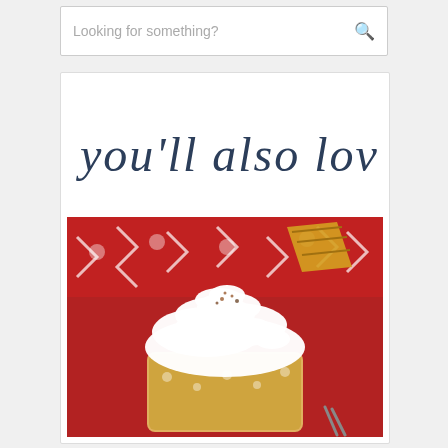Looking for something?
you'll also love
[Figure (photo): A dessert drink topped with whipped cream and a caramel waffle cone piece, sitting in a clear glass cup with caramel sauce, against a red Nordic-patterned sweater background.]